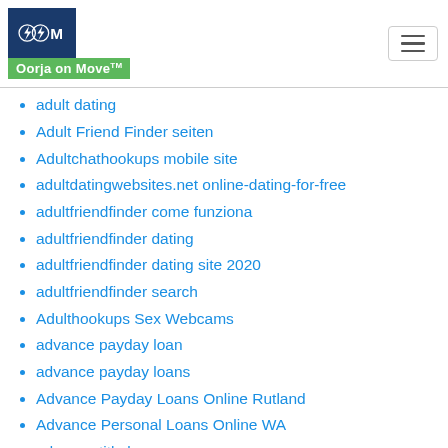Oorja on Move™
adult dating
Adult Friend Finder seiten
Adultchathookups mobile site
adultdatingwebsites.net online-dating-for-free
adultfriendfinder come funziona
adultfriendfinder dating
adultfriendfinder dating site 2020
adultfriendfinder search
Adulthookups Sex Webcams
advance payday loan
advance payday loans
Advance Payday Loans Online Rutland
Advance Personal Loans Online WA
advance title loans
Advance Title Loans Online New Jersey